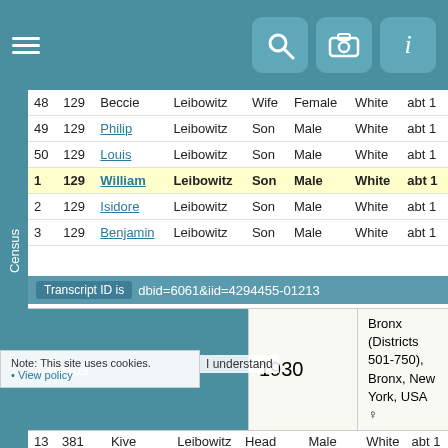Navigation bar with menu icon and search/camera/info icons
| Ln | Hhold | Given | Surname | Relation | Gender | Race | Birth |
| --- | --- | --- | --- | --- | --- | --- | --- |
| 48 | 129 | Beccie | Leibowitz | Wife | Female | White | abt 1 |
| 49 | 129 | Philip | Leibowitz | Son | Male | White | abt 1 |
| 50 | 129 | Louis | Leibowitz | Son | Male | White | abt 1 |
| 1 | 129 | William | Leibowitz | Son | Male | White | abt 1 |
| 2 | 129 | Isidore | Leibowitz | Son | Male | White | abt 1 |
| 3 | 129 | Benjamin | Leibowitz | Son | Male | White | abt 1 |
Transcript ID is dbid=6061&iid=4294455-01213
Census 1930 Bronx (Districts 501-750), Bronx, New York, USA
Image
| Ln | Hhold | Given | Surname | Relation | Gender | Race | Birth |
| --- | --- | --- | --- | --- | --- | --- | --- |
| 13 | 381 | Kive | Leibowitz | Head | Male | White | abt 1 |
| 14 | 381 | Becky | Leibowitz | Wife | Female | White | abt 1 |
| 15 | 381 | William | Leibowitz | Son | Male | White | abt 1 |
| 16 | 381 | Isadore | Leibowitz | Son | Male | White | abt 1 |
| 17 | 381 | Benjamin | Leibowitz | Son | Male | White | abt 1 |
| 18 | 381 | Kalman | Rapport | Brother-in-law | Male | White | abt |
Note: This site uses cookies.
• View policy
I understand